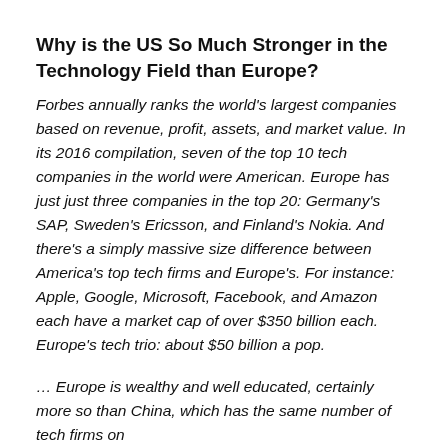Why is the US So Much Stronger in the Technology Field than Europe?
Forbes annually ranks the world's largest companies based on revenue, profit, assets, and market value. In its 2016 compilation, seven of the top 10 tech companies in the world were American. Europe has just just three companies in the top 20: Germany's SAP, Sweden's Ericsson, and Finland's Nokia. And there's a simply massive size difference between America's top tech firms and Europe's. For instance: Apple, Google, Microsoft, Facebook, and Amazon each have a market cap of over $350 billion each. Europe's tech trio: about $50 billion a pop.
… Europe is wealthy and well educated, certainly more so than China, which has the same number of tech firms on